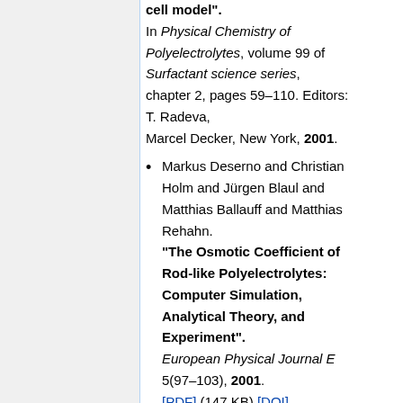cell model". In Physical Chemistry of Polyelectrolytes, volume 99 of Surfactant science series, chapter 2, pages 59–110. Editors: T. Radeva, Marcel Decker, New York, 2001.
Markus Deserno and Christian Holm and Jürgen Blaul and Matthias Ballauff and Matthias Rehahn. "The Osmotic Coefficient of Rod-like Polyelectrolytes: Computer Simulation, Analytical Theory, and Experiment". European Physical Journal E 5(97–103), 2001. [PDF] (147 KB) [DOI]
Markus Deserno and Felipe